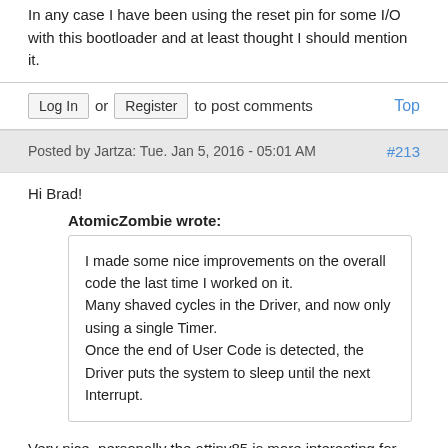In any case I have been using the reset pin for some I/O with this bootloader and at least thought I should mention it.
Log In or Register to post comments   Top
Posted by Jartza: Tue. Jan 5, 2016 - 05:01 AM   #213
Hi Brad!
AtomicZombie wrote:
I made some nice improvements on the overall code the last time I worked on it.
Many shaved cycles in the Driver, and now only using a single Timer.
Once the end of User Code is detected, the Driver puts the system to sleep until the next Interrupt.
Very nice, personally the attiny85 is more interesting for me than the mega version ;) I've been also playing with attiny5 and VGA lately and this is actually the solution I use with it as it only has single timer :)